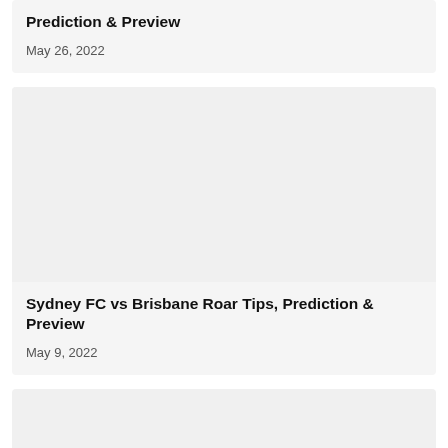Prediction & Preview
May 26, 2022
[Figure (photo): Article image placeholder (light gray background)]
Sydney FC vs Brisbane Roar Tips, Prediction & Preview
May 9, 2022
[Figure (photo): Article image placeholder (light gray background)]